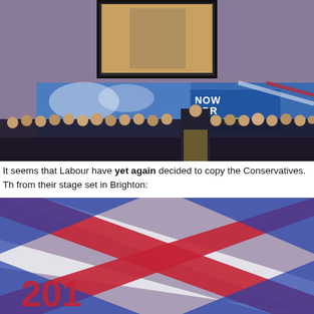[Figure (photo): Political rally on stage with many suited politicians seated and one speaking at a podium. A large screen at the top shows the speaker. A banner reads 'NOW FOR CHANGE' against a blue background with Union Jack imagery.]
It seems that Labour have yet again decided to copy the Conservatives. Th from their stage set in Brighton:
[Figure (photo): Close-up of a Union Jack flag with red, white and blue colours, blurred background. Partial red text visible at the bottom.]